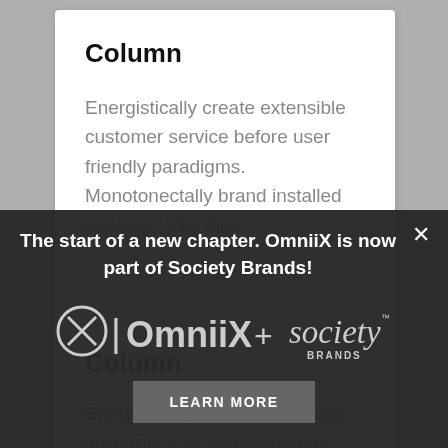Column
Energistically create extensible customer service before user friendly paradigms. Monotonectally brand installed base opportunities.
Column
Energistically create extensible customer service before user friendly paradigms. Monotonectally brand installed base opportunities.
The start of a new chapter. OmniiX is now part of Society Brands!
[Figure (logo): OmniiX + Society Brands logo lockup]
LEARN MORE